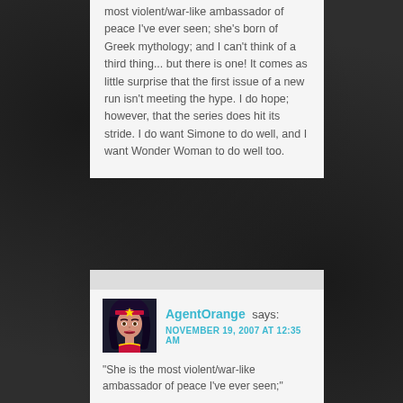most violent/war-like ambassador of peace I've ever seen; she's born of Greek mythology; and I can't think of a third thing... but there is one! It comes as little surprise that the first issue of a new run isn't meeting the hype. I do hope; however, that the series does hit its stride. I do want Simone to do well, and I want Wonder Woman to do well too.
AgentOrange says: NOVEMBER 19, 2007 AT 12:35 AM
“She is the most violent/war-like ambassador of peace I’ve ever seen;”
You haven’t watched much Star Trek – “Ours is a peaceful mission, lock on all